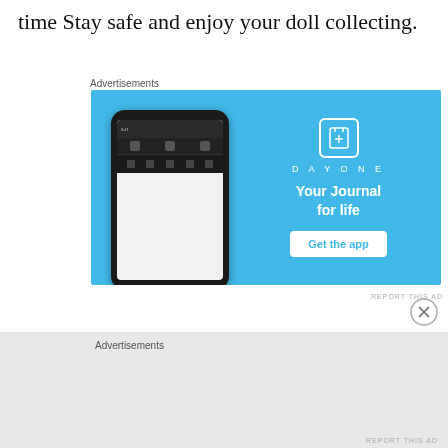time Stay safe and enjoy your doll collecting.
Advertisements
[Figure (screenshot): DayOne journal app advertisement banner with phone mockup on blue background showing 'Your Journal for life' tagline and 'Get the app' button]
REPORT THIS AD
Advertisements